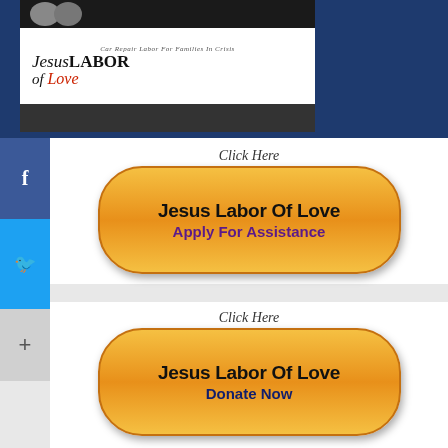[Figure (screenshot): Jesus Labor of Love banner with logo on dark blue background]
[Figure (screenshot): Click Here - Jesus Labor Of Love - Apply For Assistance orange button on white card]
[Figure (screenshot): Click Here - Jesus Labor Of Love - Donate Now orange button on white card]